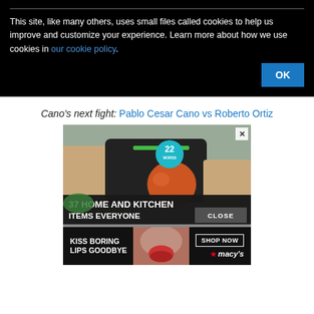This site, like many others, uses small files called cookies to help us improve and customize your experience. Learn more about how we use cookies in our cookie policy.
[Figure (screenshot): Cookie consent banner with OK button on black background]
Cano's next fight: Pablo Cesar Cano vs Roberto Ortiz
[Figure (photo): Advertisement image showing a juicer with text '37 HOME AND KITCHEN ITEMS EVERYONE' and a 22 Words badge, with a CLOSE button overlay]
[Figure (photo): Macy's advertisement with text 'KISS BORING LIPS GOODBYE' and a SHOP NOW button]